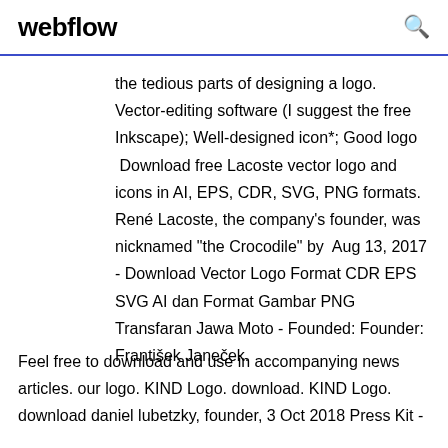webflow
the tedious parts of designing a logo. Vector-editing software (I suggest the free Inkscape); Well-designed icon*; Good logo  Download free Lacoste vector logo and icons in AI, EPS, CDR, SVG, PNG formats. René Lacoste, the company's founder, was nicknamed "the Crocodile" by  Aug 13, 2017 - Download Vector Logo Format CDR EPS SVG AI dan Format Gambar PNG Transfaran Jawa Moto - Founded: Founder: František Janeček.
Feel free to download and use in accompanying news articles. our logo. KIND Logo. download. KIND Logo. download daniel lubetzky, founder, 3 Oct 2018 Press Kit -